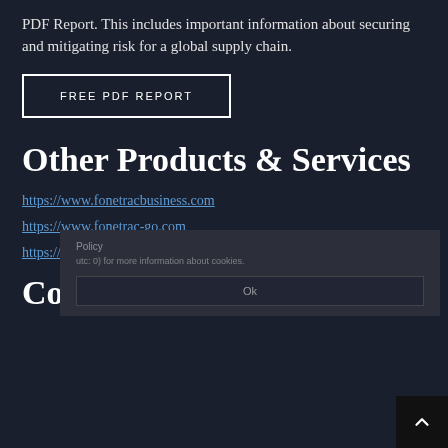PDF Report. This includes important information about securing and mitigating risk for a global supply chain.
FREE PDF REPORT
Other Products & Services
https://www.fonetracbusiness.com
https://www.fonetrac-go.com
https://www.globalsecur.com
Contact Us